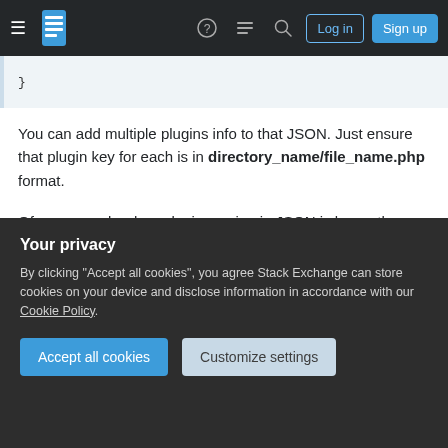Stack Exchange navigation bar with Log in and Sign up buttons
You can add multiple plugins info to that JSON. Just ensure that plugin key for each is in directory_name/file_name.php format.
Of course, only when plugin version in JSON is larger than version you have installed, Wordpress will show you that new version is available.
For full list of plugin(s) data you can set in JSON file, check $update parameter here
Your privacy
By clicking "Accept all cookies", you agree Stack Exchange can store cookies on your device and disclose information in accordance with our Cookie Policy.
Accept all cookies | Customize settings